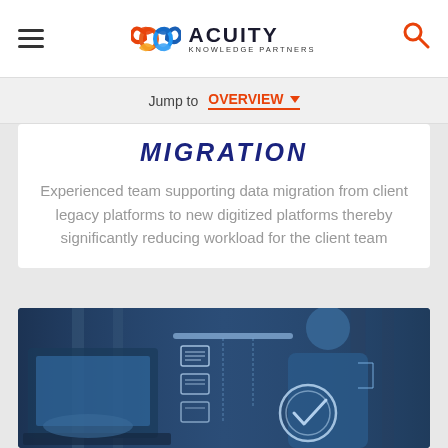Acuity Knowledge Partners
Jump to  OVERVIEW
MIGRATION
Experienced team supporting data migration from client legacy platforms to new digitized platforms thereby significantly reducing workload for the client team
[Figure (photo): Person working on a laptop with digital holographic interface overlays showing document icons and a checkmark circle, representing data migration technology]